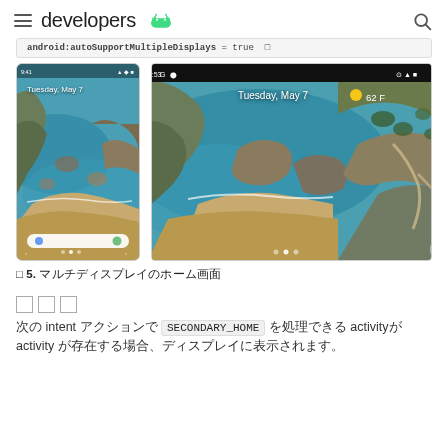developers [Android logo]
android:autoSupportMultipleDisplays = true
[Figure (screenshot): Two Android device screenshots side by side: a phone (portrait) and a tablet (landscape), both showing a coastal/beach aerial wallpaper with status bars and date 'Tuesday, May 7'. The tablet also shows weather '62 F'.]
図 5. マルチディスプレイのホーム画面
詳細
次の intent アクションで SECONDARY_HOME を処理できる activityが activity が存在する場合、ディスプレイに表示されます。